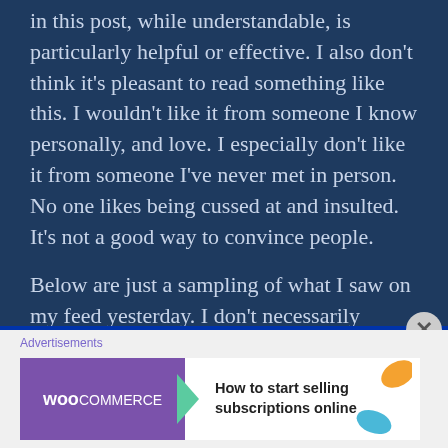in this post, while understandable, is particularly helpful or effective. I also don't think it's pleasant to read something like this. I wouldn't like it from someone I know personally, and love. I especially don't like it from someone I've never met in person. No one likes being cussed at and insulted. It's not a good way to convince people.
Below are just a sampling of what I saw on my feed yesterday. I don't necessarily disagree with the
[Figure (other): WooCommerce advertisement banner: 'How to start selling subscriptions online']